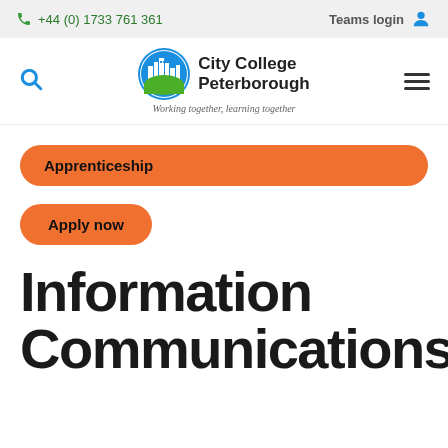+44 (0) 1733 761 361   Teams login
[Figure (logo): City College Peterborough logo with circular graphic showing cityscape and green hills, beside the text 'City College Peterborough' and tagline 'Working together, learning together']
Apprenticeship
Apply now
Information Communications